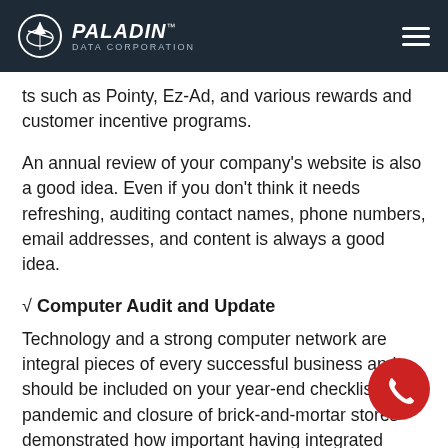Paladin Data Corporation
ts such as Pointy, Ez-Ad, and various rewards and customer incentive programs.
An annual review of your company's website is also a good idea. Even if you don't think it needs refreshing, auditing contact names, phone numbers, email addresses, and content is always a good idea.
√ Computer Audit and Update
Technology and a strong computer network are integral pieces of every successful business and should be included on your year-end checklist. The pandemic and closure of brick-and-mortar stores demonstrated how important having integrated online and in-store marketing and